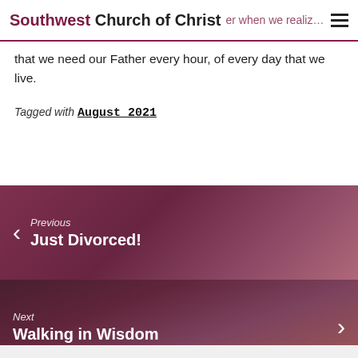Southwest Church of Christ
that we need our Father every hour, of every day that we live.
Tagged with August 2021
[Figure (photo): Previous post navigation panel with dark reddish-purple overlay showing a person figure, label: Previous - Just Divorced!]
[Figure (photo): Next post navigation panel with dark reddish-purple overlay showing mountains and a person, label: Next - Walking in Wisdom]